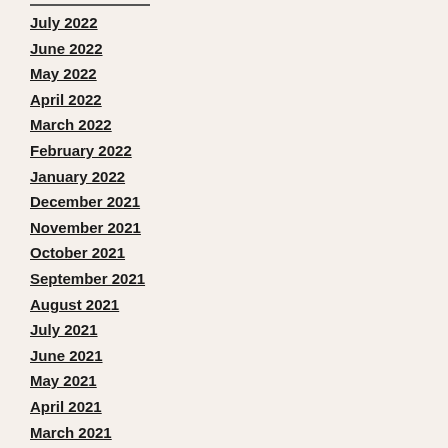July 2022
June 2022
May 2022
April 2022
March 2022
February 2022
January 2022
December 2021
November 2021
October 2021
September 2021
August 2021
July 2021
June 2021
May 2021
April 2021
March 2021
February 2021
January 2021
December 2020
November 2020